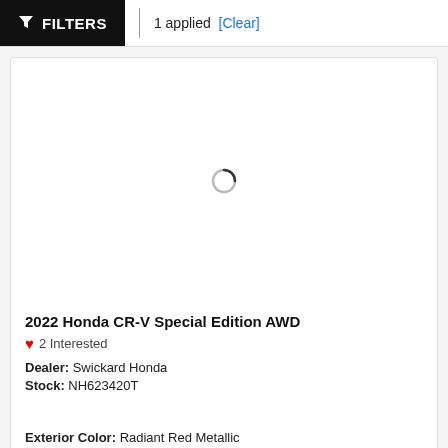FILTERS | 1 applied [Clear]
[Figure (screenshot): Loading spinner (partial circle) in the center of a white vehicle image area inside a car listing card]
2022 Honda CR-V Special Edition AWD
❤ 2 Interested
Dealer: Swickard Honda
Stock: NH623420T
Exterior Color: Radiant Red Metallic